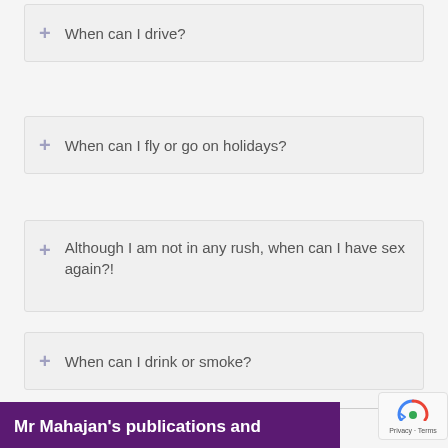When can I drive?
When can I fly or go on holidays?
Although I am not in any rush, when can I have sex again?!
When can I drink or smoke?
Mr Mahajan's publications and